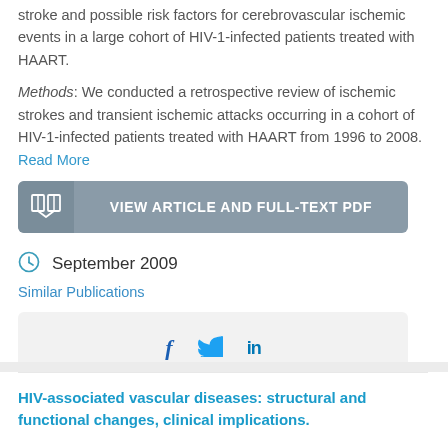stroke and possible risk factors for cerebrovascular ischemic events in a large cohort of HIV-1-infected patients treated with HAART.
Methods: We conducted a retrospective review of ischemic strokes and transient ischemic attacks occurring in a cohort of HIV-1-infected patients treated with HAART from 1996 to 2008. Read More
[Figure (other): Button: VIEW ARTICLE AND FULL-TEXT PDF with open book icon]
September 2009
Similar Publications
[Figure (other): Social share bar with Facebook, Twitter, LinkedIn icons]
HIV-associated vascular diseases: structural and functional changes, clinical implications.